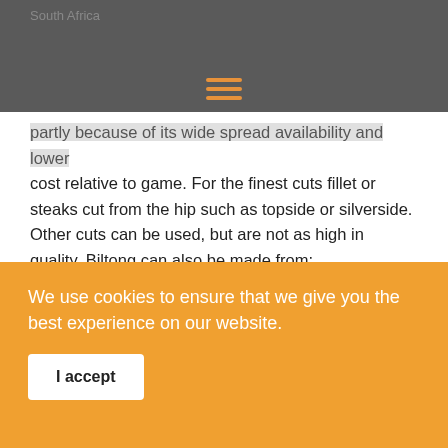South Africa
partly because of its wide spread availability and lower cost relative to game. For the finest cuts fillet or steaks cut from the hip such as topside or silverside. Other cuts can be used, but are not as high in quality. Biltong can also be made from:
Chicken, simply referred to as ‘chicken biltong.
Fish in this case, known as bokkoms (shark biltong can also be found in South Africa).
Sirloin such as kudu and springbok
Ostrich Meat – (High in Protein)
We use cookies to ensure that we give you the best experience on our website.
I accept